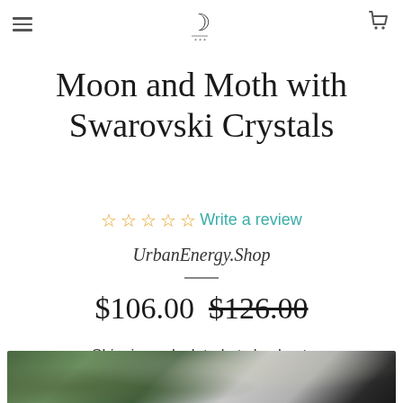Navigation header with hamburger menu, moon logo, and cart icon
Moon and Moth with Swarovski Crystals
☆☆☆☆☆ Write a review
UrbanEnergy.Shop
$106.00 $126.00
Shipping calculated at checkout.
[Figure (photo): Blurred background photo of green leaves and bokeh light, partially visible at bottom of page]